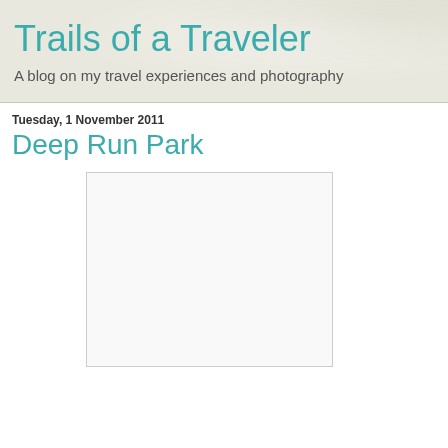Trails of a Traveler
A blog on my travel experiences and photography
Tuesday, 1 November 2011
Deep Run Park
[Figure (photo): A blank/white photo placeholder image in the blog post for Deep Run Park]